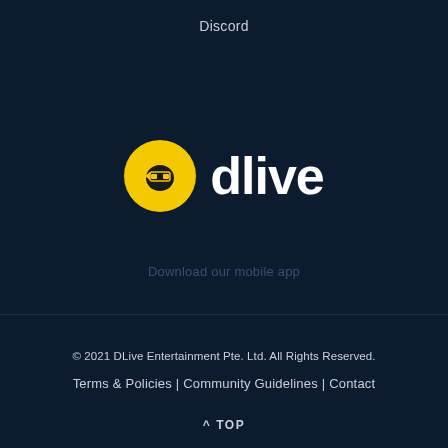Discord
[Figure (logo): DLive logo: yellow circle with black ninja/robot face icon on the left, and white bold text 'dlive' on the right]
Download our mobile app
© 2021 DLive Entertainment Pte. Ltd. All Rights Reserved.
Terms & Policies | Community Guidelines | Contact
^ TOP